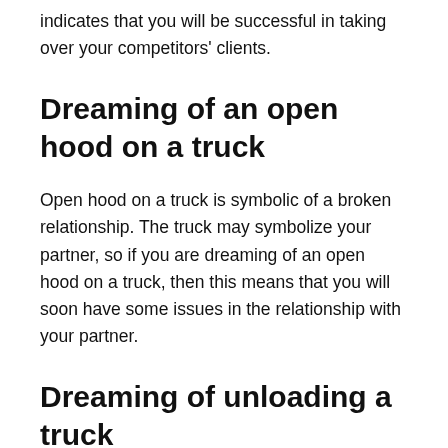indicates that you will be successful in taking over your competitors' clients.
Dreaming of an open hood on a truck
Open hood on a truck is symbolic of a broken relationship. The truck may symbolize your partner, so if you are dreaming of an open hood on a truck, then this means that you will soon have some issues in the relationship with your partner.
Dreaming of unloading a truck
Dreaming of unloading a truck can be considered a sign of good things to come in the future. The